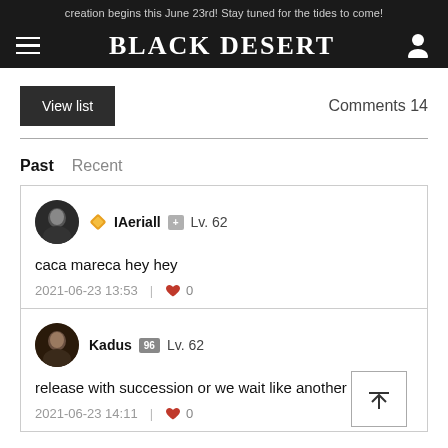creation begins this June 23rd! Stay tuned for the tides to come!
BLACK DESERT
View list    Comments 14
Past   Recent
IAeriall Lv. 62
caca mareca hey hey
2021-06-23 13:53  | ♥ 0
Kadus Lv. 62
release with succession or we wait like another class?
2021-06-23 14:11  | ♥ 0